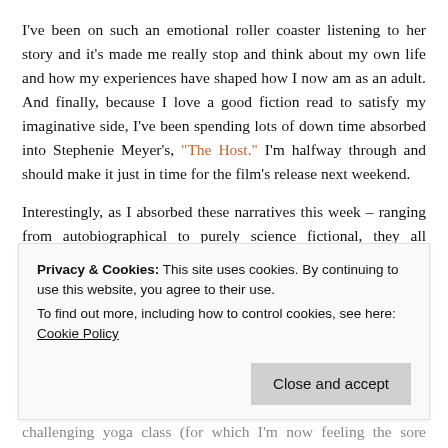I've been on such an emotional roller coaster listening to her story and it's made me really stop and think about my own life and how my experiences have shaped how I now am as an adult. And finally, because I love a good fiction read to satisfy my imaginative side, I've been spending lots of down time absorbed into Stephenie Meyer's, "The Host." I'm halfway through and should make it just in time for the film's release next weekend.
Interestingly, as I absorbed these narratives this week – ranging from autobiographical to purely science fictional, they all somehow intertwine in theme. What I'm learning is that it's amazing how we grow and change, yet remain the same at our core. As a result, it's those demons we struggle with as we move
Privacy & Cookies: This site uses cookies. By continuing to use this website, you agree to their use. To find out more, including how to control cookies, see here: Cookie Policy
challenging yoga class (for which I'm now feeling the sore effects),